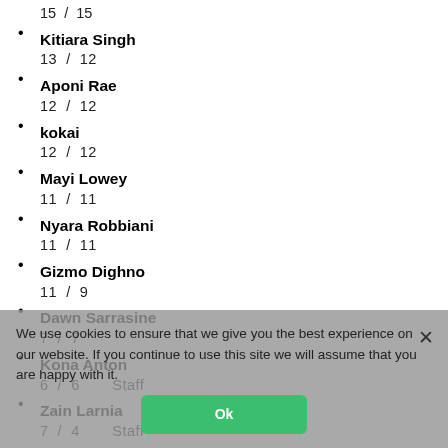15 / 15
Kitiara Singh
13 / 12
Aponi Rae
12 / 12
kokai
12 / 12
Mayi Lowey
11 / 11
Nyara Robbiani
11 / 11
Gizmo Dighno
11 / 9
Dawn Sarrasine
7 / 7
Kona Anton
6 / 6    Staff
Zain Larnia
7 / 4    Staff
Thanya Marabana
4 / 4
Jadec Daxter
4 / 4
TanSheil
4 / 4
Lara Varriale
3 / 3
Jona Jorgental
3 / 3
Orchidee Beltis
We use cookies to ensure that we give you the best experience on our website. If you continue to use this site we will assume that you are happy with it.